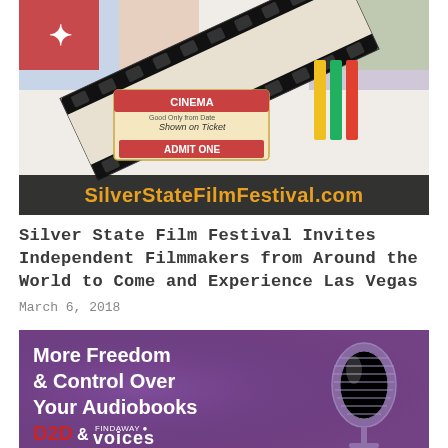[Figure (photo): Silver State Film Festival promotional image showing film strip, cinema ticket saying ADMIT ONE, and SilverStateFilmFestival.com text at the bottom]
Silver State Film Festival Invites Independent Filmmakers from Around the World to Come and Experience Las Vegas
March 6, 2018
[Figure (photo): Purple/violet advertisement image with microphone graphic and text: More Freedom & Control Over Your Audiobooks, D2D & FINDAWAY Voices]